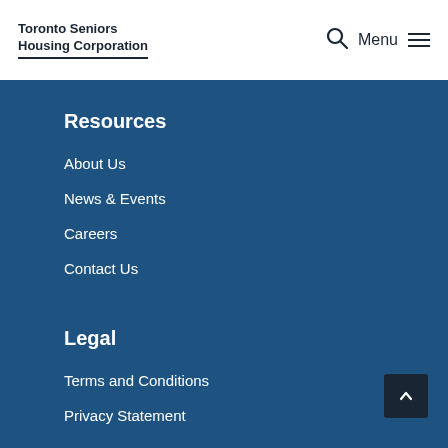Toronto Seniors Housing Corporation
Resources
About Us
News & Events
Careers
Contact Us
Legal
Terms and Conditions
Privacy Statement